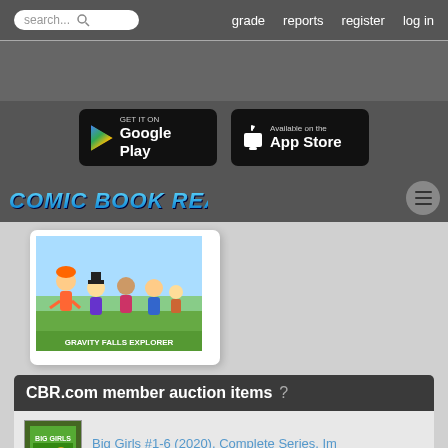search... | grade | reports | register | log in
[Figure (screenshot): Google Play and App Store download badges]
[Figure (logo): Comic Book Realm .com logo with hamburger menu]
[Figure (illustration): Comic book cover showing cartoon children characters]
CBR.com member auction items ?
Big Girls #1-6 (2020), Complete Series, Im
$8.00 | Ends:
Walking Dead #1 - Neal Adams Ww Variant
$7.99 | Ends: